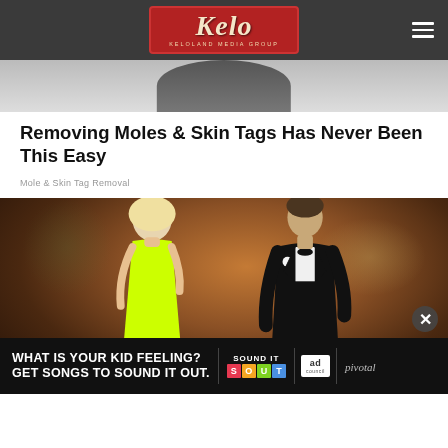Kelo - KELOLAND MEDIA GROUP
[Figure (photo): Top portion of a photo showing a person, cropped, with dark/light tones]
Removing Moles & Skin Tags Has Never Been This Easy
Mole & Skin Tag Removal
[Figure (photo): Couple at a formal event — a blonde woman in a neon yellow/green strapless dress and a man in a black tuxedo with white boutonniere, smiling, in an ornate ballroom setting. An advertisement banner overlays the bottom: 'WHAT IS YOUR KID FEELING? GET SONGS TO SOUND IT OUT.' with Sound It Out, Ad Council, and Pivotal logos.]